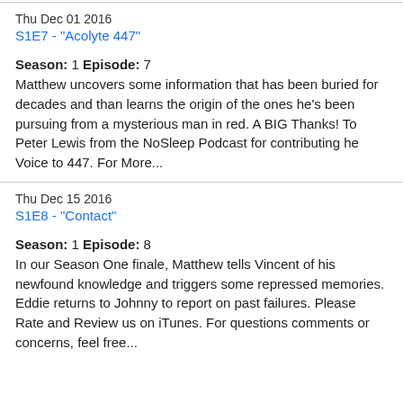Thu Dec 01 2016
S1E7 - "Acolyte 447"
Season: 1 Episode: 7
Matthew uncovers some information that has been buried for decades and than learns the origin of the ones he's been pursuing from a mysterious man in red. A BIG Thanks! To Peter Lewis from the NoSleep Podcast for contributing he Voice to 447. For More...
Thu Dec 15 2016
S1E8 - "Contact"
Season: 1 Episode: 8
In our Season One finale, Matthew tells Vincent of his newfound knowledge and triggers some repressed memories. Eddie returns to Johnny to report on past failures. Please Rate and Review us on iTunes. For questions comments or concerns, feel free...